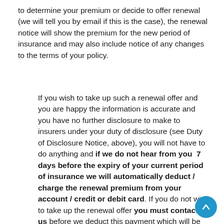to determine your premium or decide to offer renewal (we will tell you by email if this is the case), the renewal notice will show the premium for the new period of insurance and may also include notice of any changes to the terms of your policy.
If you wish to take up such a renewal offer and you are happy the information is accurate and you have no further disclosure to make to insurers under your duty of disclosure (see Duty of Disclosure Notice, above), you will not have to do anything and if we do not hear from you 7 days before the expiry of your current period of insurance we will automatically deduct / charge the renewal premium from your account / credit or debit card. If you do not wish to take up the renewal offer you must contact us before we deduct this payment which will be wit